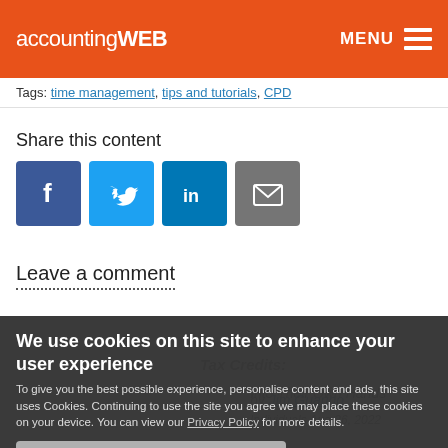accountingWEB  MENU
Tags: time management, tips and tutorials, CPD
Share this content
[Figure (infographic): Social sharing icons: Facebook (blue), Twitter (light blue), LinkedIn (dark blue), Email (grey)]
Leave a comment
We use cookies on this site to enhance your user experience
To give you the best possible experience, personalise content and ads, this site uses Cookies. Continuing to use the site you agree we may place these cookies on your device. You can view our Privacy Policy for more details.
No, give me more info
OK, I agree